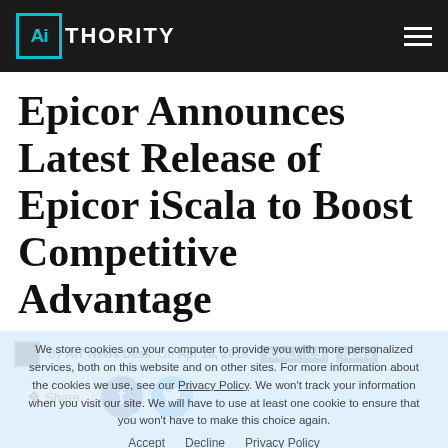AIThority
Epicor Announces Latest Release of Epicor iScala to Boost Competitive Advantage
By AIT News Desk  On Apr 18, 2019  ANALYTICS NEWS
Share  [Facebook] [Twitter]
New Usability Features, Coupled with Enhanced Reporting and Analytics, Improve...
We store cookies on your computer to provide you with more personalized services, both on this website and on other sites. For more information about the cookies we use, see our Privacy Policy. We won't track your information when you visit our site. We will have to use at least one cookie to ensure that you won't have to make this choice again.
Accept  Decline  Privacy Policy